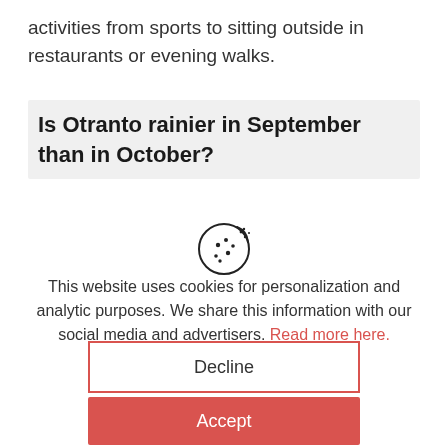activities from sports to sitting outside in restaurants or evening walks.
Is Otranto rainier in September than in October?
[Figure (illustration): Cookie icon — a circular cookie with small dots/chips on it, rendered as a black outline illustration]
This website uses cookies for personalization and analytic purposes. We share this information with our social media and advertisers. Read more here.
Decline
Accept